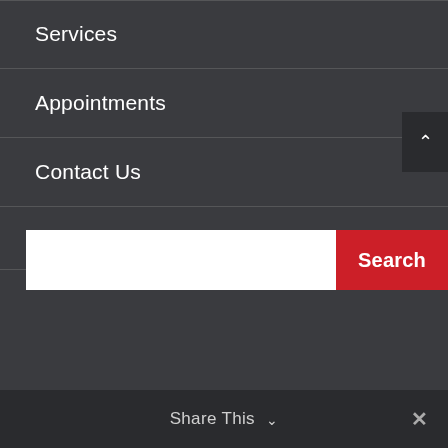Services
Appointments
Contact Us
⋮
[Figure (screenshot): Search bar with white input field and red Search button, with dark scroll-to-top arrow button on the right]
Share This ∨  ✕